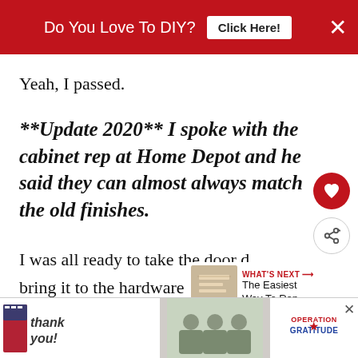Do You Love To DIY?  Click Here!  ×
Yeah, I passed.
**Update 2020** I spoke with the cabinet rep at Home Depot and he said they can almost always match the old finishes.
I was all ready to take the door d… bring it to the hardware store for them to m…
[Figure (screenshot): What's Next promotional widget with thumbnail image and text 'The Easiest Way To Rep...']
[Figure (photo): Advertisement banner: Thank You with Operation Gratitude image showing people holding cards]